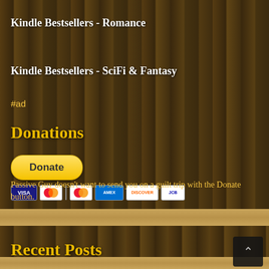Kindle Bestsellers - Romance
Kindle Bestsellers - SciFi & Fantasy
#ad
Donations
[Figure (other): PayPal Donate button with payment method icons (Visa, Mastercard, American Express, Discover, JCB)]
Passive Guy doesn't want to send you on a guilt trip with the Donate button.
Recent Posts